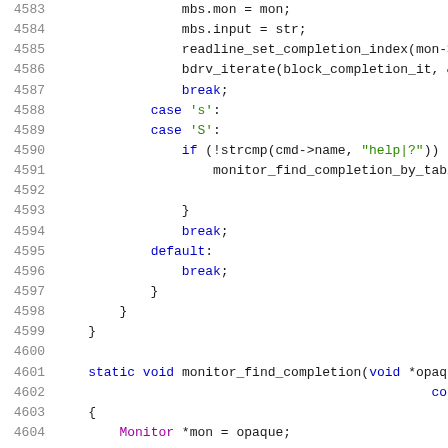Source code listing lines 4583-4604, C code for monitor completion functions